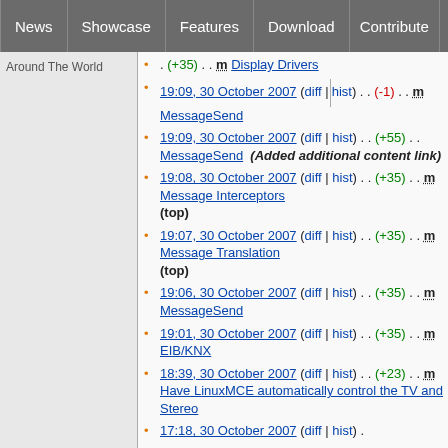News | Showcase | Features | Download | Contribute | Support
Around The World
. (+35) . . m Display Drivers
19:09, 30 October 2007 (diff | hist) . . (-1) . . m MessageSend
19:09, 30 October 2007 (diff | hist) . . (+55) . . MessageSend (Added additional content link)
19:08, 30 October 2007 (diff | hist) . . (+35) . . m Message Interceptors (top)
19:07, 30 October 2007 (diff | hist) . . (+35) . . m Message Translation (top)
19:06, 30 October 2007 (diff | hist) . . (+35) . . m MessageSend
19:01, 30 October 2007 (diff | hist) . . (+35) . . m EIB/KNX
18:39, 30 October 2007 (diff | hist) . . (+23) . . m Have LinuxMCE automatically control the TV and Stereo
17:18, 30 October 2007 (diff | hist) .